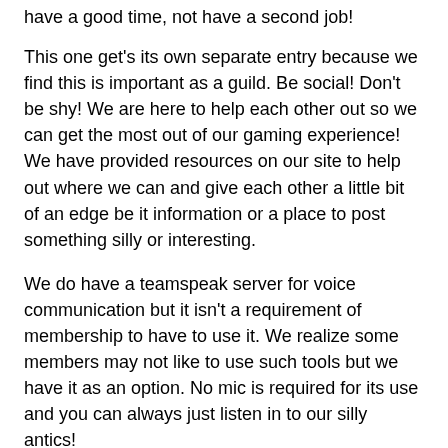have a good time, not have a second job!
This one get's its own separate entry because we find this is important as a guild. Be social! Don't be shy! We are here to help each other out so we can get the most out of our gaming experience! We have provided resources on our site to help out where we can and give each other a little bit of an edge be it information or a place to post something silly or interesting.
We do have a teamspeak server for voice communication but it isn't a requirement of membership to have to use it. We realize some members may not like to use such tools but we have it as an option. No mic is required for its use and you can always just listen in to our silly antics!
Speaking of antics, almost forgot about guild related events! We like to schedule events in game for dungeon running or just to do something silly! We are working on getting the numbers for guild missions and currently we have guild